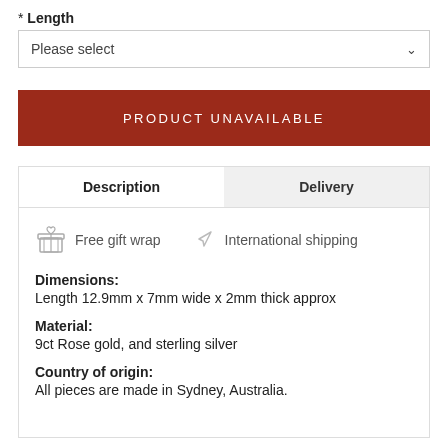* Length
Please select
PRODUCT UNAVAILABLE
Description
Delivery
Free gift wrap
International shipping
Dimensions:
Length 12.9mm x 7mm wide x 2mm thick approx
Material:
9ct Rose gold, and sterling silver
Country of origin:
All pieces are made in Sydney, Australia.